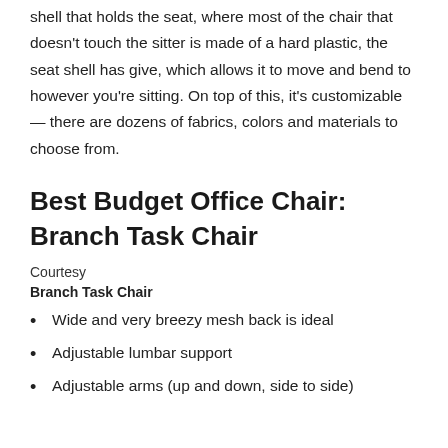shell that holds the seat, where most of the chair that doesn't touch the sitter is made of a hard plastic, the seat shell has give, which allows it to move and bend to however you're sitting. On top of this, it's customizable — there are dozens of fabrics, colors and materials to choose from.
Best Budget Office Chair: Branch Task Chair
Courtesy
Branch Task Chair
Wide and very breezy mesh back is ideal
Adjustable lumbar support
Adjustable arms (up and down, side to side)